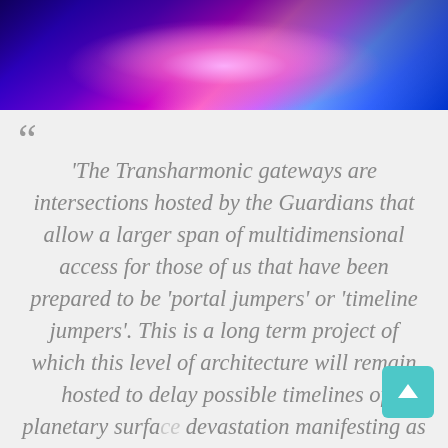[Figure (photo): Abstract cosmic or energy vortex image with swirling blue, purple, and pink light rays emanating from a central glowing point against a dark background.]
“The Transharmonic gateways are intersections hosted by the Guardians that allow a larger span of multidimensional access for those of us that have been prepared to be ‘portal jumpers’ or ‘timeline jumpers’. This is a long term project of which this level of architecture will remain hosted to delay possible timelines of planetary surface devastation manifesting as well as keep the Ascension Window open for as long as possible. Transharmonic gateway